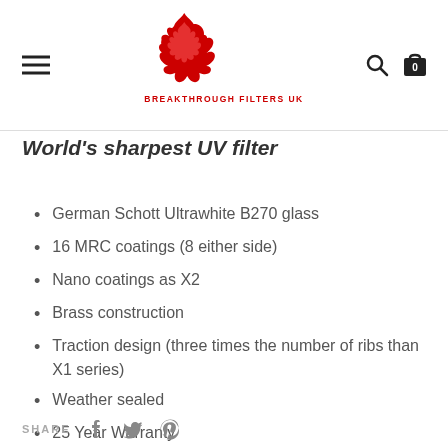[Figure (logo): Breakthrough Filters UK logo — red flame/lens icon above red text BREAKTHROUGH FILTERS UK]
World's sharpest UV filter
German Schott Ultrawhite B270 glass
16 MRC coatings (8 either side)
Nano coatings as X2
Brass construction
Traction design (three times the number of ribs than X1 series)
Weather sealed
25 Year Warranty
SHARE